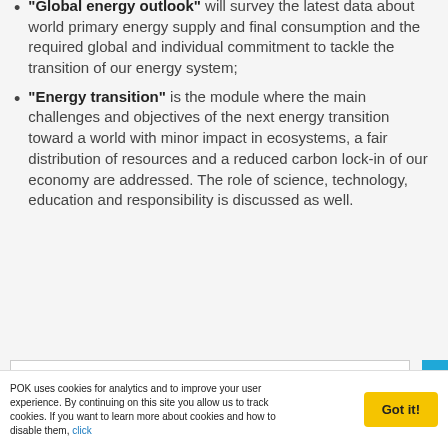"Global energy outlook" will survey the latest data about world primary energy supply and final consumption and the required global and individual commitment to tackle the transition of our energy system;
"Energy transition" is the module where the main challenges and objectives of the next energy transition toward a world with minor impact in ecosystems, a fair distribution of resources and a reduced carbon lock-in of our economy are addressed. The role of science, technology, education and responsibility is discussed as well.
[Figure (logo): Alta Scuola Politecnica logo with blue rectangle and text, alongside 'This course is' text]
POK uses cookies for analytics and to improve your user experience. By continuing on this site you allow us to track cookies. If you want to learn more about cookies and how to disable them, click